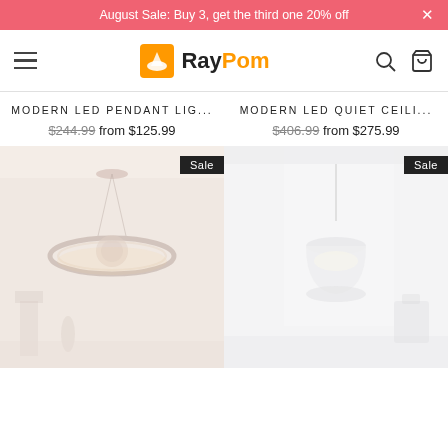August Sale: Buy 3, get the third one 20% off
[Figure (logo): RayPom logo with orange lamp icon and stylized text]
MODERN LED PENDANT LIG... $244.99 from $125.99
MODERN LED QUIET CEILI... $406.99 from $275.99
[Figure (photo): Ring-shaped LED pendant chandelier hanging in a dining room, with Sale badge]
[Figure (photo): White dome pendant light hanging, with Sale badge]